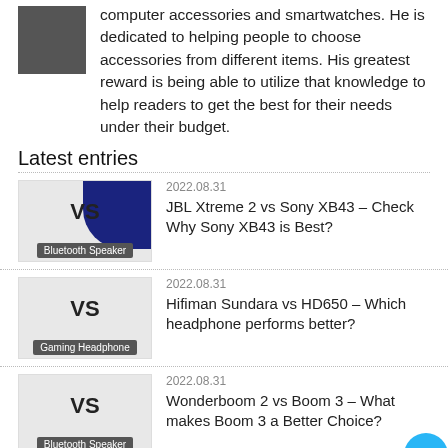computer accessories and smartwatches. He is dedicated to helping people to choose accessories from different items. His greatest reward is being able to utilize that knowledge to help readers to get the best for their needs under their budget.
Latest entries
[Figure (photo): VS comparison thumbnail with blue speaker image and Bluetooth Speaker badge]
2022.08.31
JBL Xtreme 2 vs Sony XB43 – Check Why Sony XB43 is Best?
[Figure (photo): VS comparison thumbnail with Gaming Headphone badge]
2022.08.31
Hifiman Sundara vs HD650 – Which headphone performs better?
[Figure (photo): VS comparison thumbnail with Bluetooth Speaker badge]
2022.08.31
Wonderboom 2 vs Boom 3 – What makes Boom 3 a Better Choice?
[Figure (photo): VS comparison thumbnail for JBL Xtreme 2 vs UE Megaboom 3 (partial)]
2022.08.30
JBL Xtreme 2 vs UE Megaboom 3 – Which one